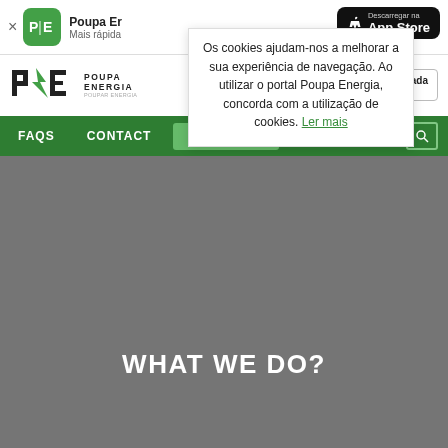[Figure (screenshot): Poupa Energia app banner with green icon showing PE logo, app name 'Poupa Er' and 'Mais rápida', and App Store download button]
Os cookies ajudam-nos a melhorar a sua experiência de navegação. Ao utilizar o portal Poupa Energia, concorda com a utilização de cookies. Ler mais
[Figure (logo): Poupa Energia logo with PE icon and POUPAENERGIA text]
Área Reservada
Entrar
FAQS
CONTACT
Concordo
WHAT WE DO?